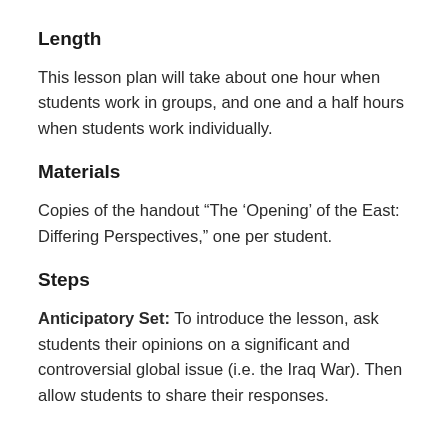Length
This lesson plan will take about one hour when students work in groups, and one and a half hours when students work individually.
Materials
Copies of the handout “The ‘Opening’ of the East: Differing Perspectives,” one per student.
Steps
Anticipatory Set: To introduce the lesson, ask students their opinions on a significant and controversial global issue (i.e. the Iraq War). Then allow students to share their responses.